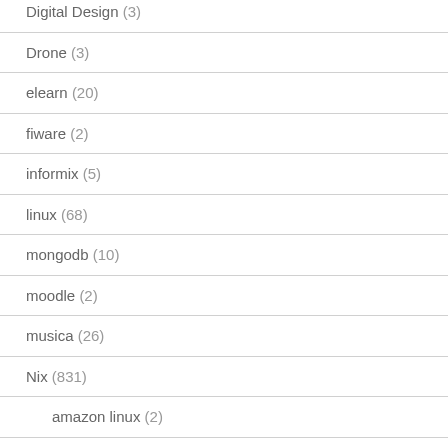Digital Design (3)
Drone (3)
elearn (20)
fiware (2)
informix (5)
linux (68)
mongodb (10)
moodle (2)
musica (26)
Nix (831)
amazon linux (2)
ansible (1)
arch (8)
CentOS (191)